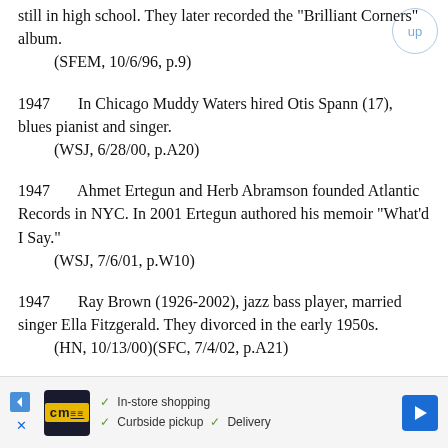still in high school. They later recorded the "Brilliant Corners" album.
    (SFEM, 10/6/96, p.9)
1947    In Chicago Muddy Waters hired Otis Spann (17), blues pianist and singer.
    (WSJ, 6/28/00, p.A20)
1947    Ahmet Ertegun and Herb Abramson founded Atlantic Records in NYC. In 2001 Ertegun authored his memoir "What'd I Say."
    (WSJ, 7/6/01, p.W10)
1947    Ray Brown (1926-2002), jazz bass player, married singer Ella Fitzgerald. They divorced in the early 1950s.
    (HN, 10/13/00)(SFC, 7/4/02, p.A21)
1947-1951    Jimmy Rowles worked with Bob Crosby.
    (SFC, 5/30/96, p.A16)
[Figure (other): Advertisement bar at bottom: cm logo, in-store shopping, curbside pickup, delivery, navigation arrow icon]